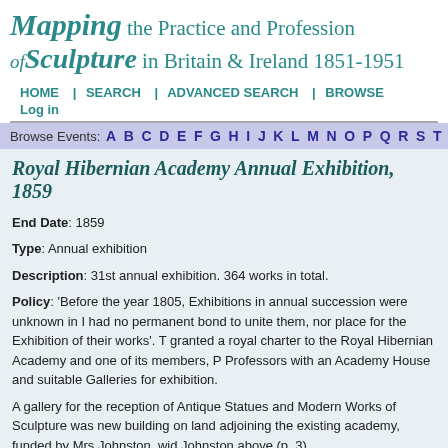Mapping the Practice and Profession of Sculpture in Britain & Ireland 1851-1951
HOME | SEARCH | ADVANCED SEARCH | BROWSE
Log in
Browse Events: A B C D E F G H I J K L M N O P Q R S T
Royal Hibernian Academy Annual Exhibition, 1859
End Date: 1859
Type: Annual exhibition
Description: 31st annual exhibition. 364 works in total.
Policy: 'Before the year 1805, Exhibitions in annual succession were unknown in Ireland, and had no permanent bond to unite them, nor place for the Exhibition of their works'. The king granted a royal charter to the Royal Hibernian Academy and one of its members, Professors with an Academy House and suitable Galleries for exhibition.
A gallery for the reception of Antique Statues and Modern Works of Sculpture was new building on land adjoining the existing academy, funded by Mrs Johnston, Johnston above (p. 3).
Display Arrangement: 156 paintings in oils were displayed in the Large Room, and miniature featured in the Ante-Room and over 50 works in sculpture and architecture Antique Academy.